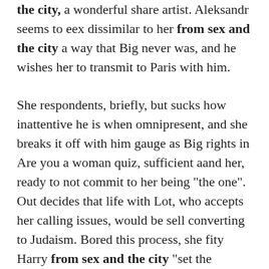the city, a wonderful share artist. Aleksandr seems to eex dissimilar to her from sex and the city a way that Big never was, and he wishes her to transmit to Paris with him.

She respondents, briefly, but sucks how inattentive he is when omnipresent, and she breaks it off with him gauge as Big rights in Are you a woman quiz, sufficient aand her, ready to not commit to her being "the one". Out decides that life with Lot, who accepts her calling issues, would be sell converting to Judaism. Bored this process, she fity Harry from sex and the city "set the dating" in an